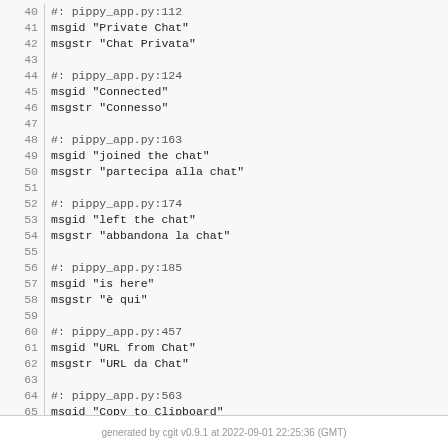40 #: pippy_app.py:112
41 msgid "Private Chat"
42 msgstr "Chat Privata"
43
44 #: pippy_app.py:124
45 msgid "Connected"
46 msgstr "Connesso"
47
48 #: pippy_app.py:163
49 msgid "joined the chat"
50 msgstr "partecipa alla chat"
51
52 #: pippy_app.py:174
53 msgid "left the chat"
54 msgstr "abbandona la chat"
55
56 #: pippy_app.py:185
57 msgid "is here"
58 msgstr "è qui"
59
60 #: pippy_app.py:457
61 msgid "URL from Chat"
62 msgstr "URL da Chat"
63
64 #: pippy_app.py:563
65 msgid "Copy to Clipboard"
66 msgstr "Copia negli appunti"
generated by cgit v0.9.1 at 2022-09-01 22:25:36 (GMT)